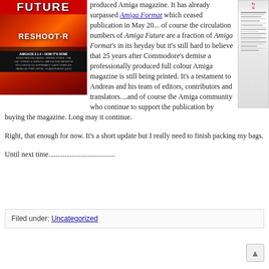[Figure (illustration): Cover of Amiga Future magazine showing 'RESHOOT R for Amiga CD32, 1200, 4000' game with red/orange sci-fi artwork. Includes text: AMIGAOS 3.1.4 - HOW IT'S DONE, RIVER RAID RELOADED, BRIDGE STRIKE, VIM, LHX, KNIGHT & GHOSTS, BATTLE FOR WESNOTH, HOLLYWOOD 8.0 SUPREMACY & APN COMPILER, PARALLEL PORT ZIP100, SCANDOUBLER @S20]
produced Amiga magazine. It has already surpassed Amiga Format which ceased publication in May 20... of course the circulation numbers of Amiga Future are a fraction of Amiga Format's in its heyday but it's still hard to believe that 25 years after Commodore's demise a professionally produced full colour Amiga magazine is still being printed. It's a testament to Andreas and his team of editors, contributors and translators....and of course the Amiga community who continue to support the publication by buying the magazine. Long may it continue.
[Figure (screenshot): Partial view of another magazine/document page, partially cropped, showing red text and columns of content]
Right, that enough for now. It's a short update but I really need to finish packing my bags.
Until next time.....................................
Filed under: Uncategorized